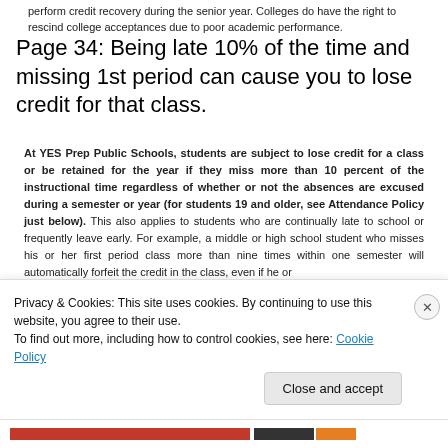perform credit recovery during the senior year.  Colleges do have the right to rescind college acceptances due to poor academic performance.
Page 34:  Being late 10% of the time and missing 1st period can cause you to lose credit for that class.
At YES Prep Public Schools, students are subject to lose credit for a class or be retained for the year if they miss more than 10 percent of the instructional time regardless of whether or not the absences are excused during a semester or year (for students 19 and older, see Attendance Policy just below). This also applies to students who are continually late to school or frequently leave early. For example, a middle or high school student who misses his or her first period class more than nine times within one semester will automatically forfeit the credit in the class, even if he or
May 13, 2018
5 Replies
Privacy & Cookies: This site uses cookies. By continuing to use this website, you agree to their use.
To find out more, including how to control cookies, see here: Cookie Policy
Close and accept